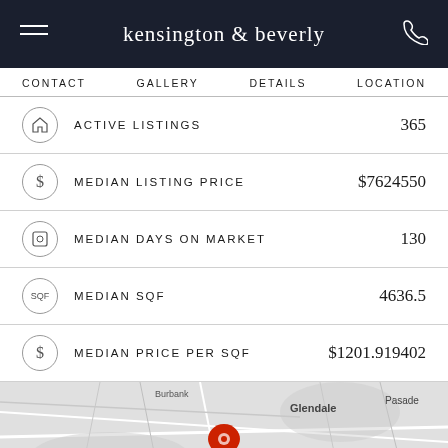kensington & beverly
CONTACT   GALLERY   DETAILS   LOCATION
ACTIVE LISTINGS  365
MEDIAN LISTING PRICE  $7624550
MEDIAN DAYS ON MARKET  130
MEDIAN SQF  4636.5
MEDIAN PRICE PER SQF  $1201.919402
[Figure (map): Grayscale map of Los Angeles area showing Calabasas, Burbank, Glendale, Pasadena, Topanga, Beverly Hills with a red location pin marker in the center area]